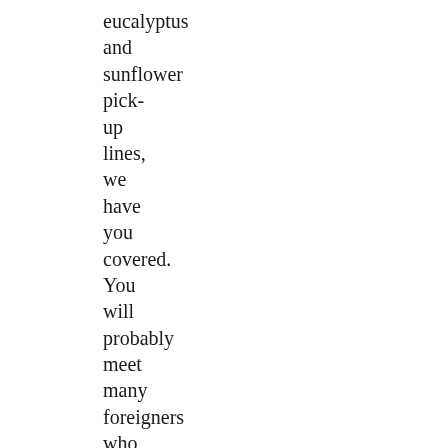eucalyptus
and
sunflower
pick-
up
lines,
we
have
you
covered.
You
will
probably
meet
many
foreigners
who
are
just
travelling
around,
for
short
or
long